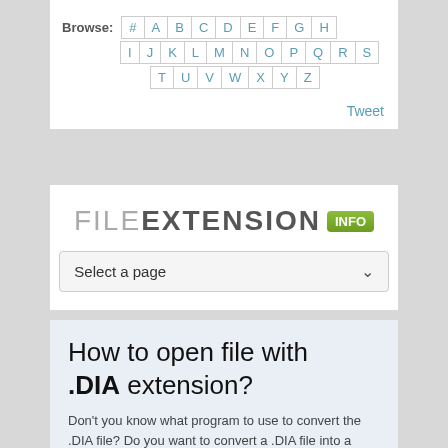Browse: # A B C D E F G H I J K L M N O P Q R S T U V W X Y Z
Tweet
[Figure (screenshot): FILE EXTENSION INFO logo with a green INFO badge, and a 'Select a page' dropdown selector]
How to open file with .DIA extension?
Don't you know what program to use to convert the .DIA file? Do you want to convert a .DIA file into a different format? Below you will find